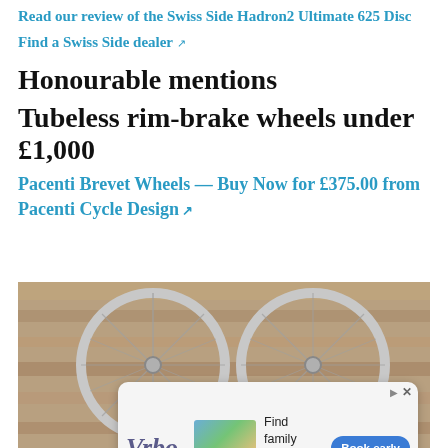Read our review of the Swiss Side Hadron2 Ultimate 625 Disc
Find a Swiss Side dealer ↗
Honourable mentions
Tubeless rim-brake wheels under £1,000
Pacenti Brevet Wheels — Buy Now for £375.00 from Pacenti Cycle Design ↗
[Figure (photo): Two silver bicycle wheels leaning against a stone/concrete wall, with an advertisement overlay for Vrbo showing 'Find family getaways nearby' with a Book early button]